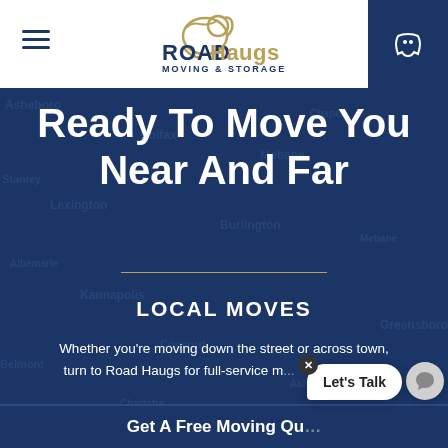Road Haugs Moving & Storage — navigation header with logo, hamburger menu, and phone icon
Ready To Move You Near And Far
LOCAL MOVES
Whether you're moving down the street or across town, turn to Road Haugs for full-service m... that
Get A Free Moving Qu...